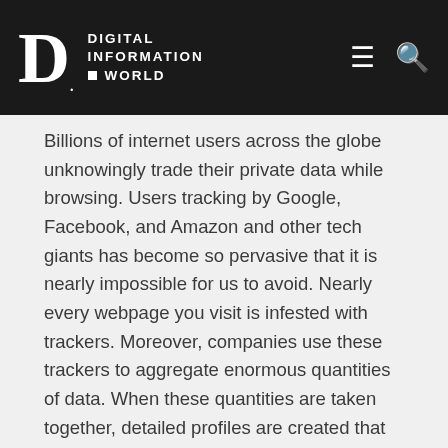DIGITAL INFORMATION WORLD
Billions of internet users across the globe unknowingly trade their private data while browsing. Users tracking by Google, Facebook, and Amazon and other tech giants has become so pervasive that it is nearly impossible for us to avoid. Nearly every webpage you visit is infested with trackers. Moreover, companies use these trackers to aggregate enormous quantities of data. When these quantities are taken together, detailed profiles are created that can reveal several things about us including some private ones.
It is worth mentioning that large companies carry out this marry assault on privacy supposedly so marketers can target people more accurately while placing advertisements. A new report from Ghostery provides